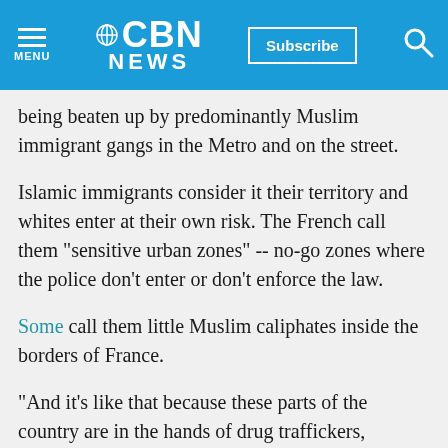CBN NEWS — Subscribe — MENU
being beaten up by predominantly Muslim immigrant gangs in the Metro and on the street.
Islamic immigrants consider it their territory and whites enter at their own risk. The French call them "sensitive urban zones" -- no-go zones where the police don't enter or don't enforce the law.
Some call them little Muslim caliphates inside the borders of France.
"And it's like that because these parts of the country are in the hands of drug traffickers,